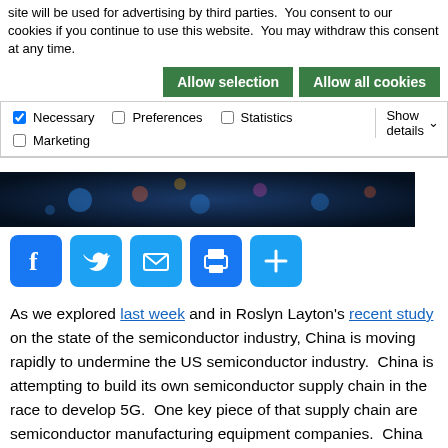site will be used for advertising by third parties.  You consent to our cookies if you continue to use this website.  You may withdraw this consent at any time.
Allow selection   Allow all cookies
Necessary   Preferences   Statistics   Marketing   Show details
[Figure (photo): Hero image with dark blue bokeh/tech background]
[Figure (infographic): Social sharing icons: Facebook, Twitter, Email, Print, Share/Add]
As we explored last week and in Roslyn Layton's recent study on the state of the semiconductor industry, China is moving rapidly to undermine the US semiconductor industry.  China is attempting to build its own semiconductor supply chain in the race to develop 5G.  One key piece of that supply chain are semiconductor manufacturing equipment companies.  China has a vision of building these out as part of its Made in China 2025 initiative.